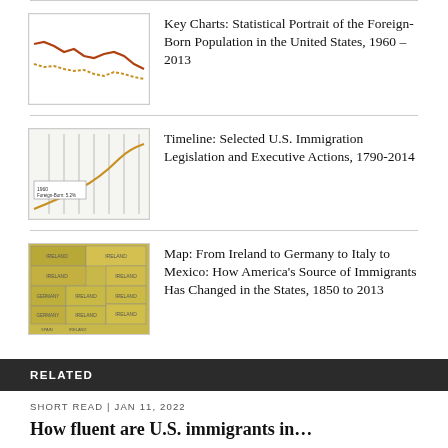Key Charts: Statistical Portrait of the Foreign-Born Population in the United States, 1960 – 2013
Timeline: Selected U.S. Immigration Legislation and Executive Actions, 1790-2014
Map: From Ireland to Germany to Italy to Mexico: How America's Source of Immigrants Has Changed in the States, 1850 to 2013
RELATED
SHORT READ | JAN 11, 2022
How fluent are U.S. immigrants in…